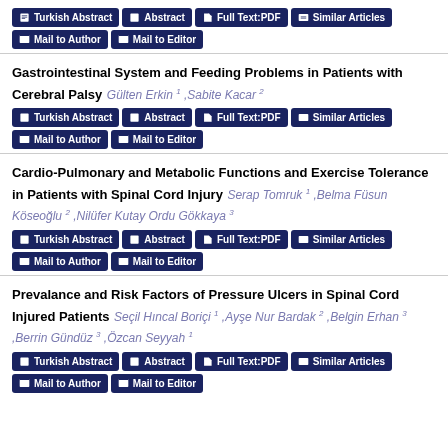Turkish Abstract | Abstract | Full Text:PDF | Similar Articles | Mail to Author | Mail to Editor
Gastrointestinal System and Feeding Problems in Patients with Cerebral Palsy
Gülten Erkin 1 ,Sabite Kacar 2
Turkish Abstract | Abstract | Full Text:PDF | Similar Articles | Mail to Author | Mail to Editor
Cardio-Pulmonary and Metabolic Functions and Exercise Tolerance in Patients with Spinal Cord Injury
Serap Tomruk 1 ,Belma Füsun Köseoğlu 2 ,Nilüfer Kutay Ordu Gökkaya 3
Turkish Abstract | Abstract | Full Text:PDF | Similar Articles | Mail to Author | Mail to Editor
Prevalance and Risk Factors of Pressure Ulcers in Spinal Cord Injured Patients
Seçil Hıncal Boriçi 1 ,Ayşe Nur Bardak 2 ,Belgin Erhan 3 ,Berrin Gündüz 3 ,Özcan Seyyah 1
Turkish Abstract | Abstract | Full Text:PDF | Similar Articles | Mail to Author | Mail to Editor